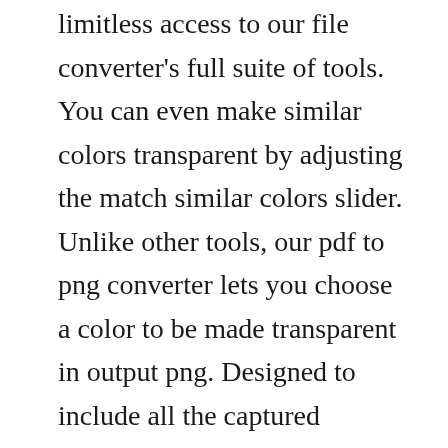limitless access to our file converter's full suite of tools. You can even make similar colors transparent by adjusting the match similar colors slider. Unlike other tools, our pdf to png converter lets you choose a color to be made transparent in output png. Designed to include all the captured printed elements of their source, pdf files can be v file extension. With this service, you can merge several pdf images into one jpeg file for archiving and easier forwarding. If file upload process takes a very long time or no. Our easytouse online pdf to word converter tool converts your pdf